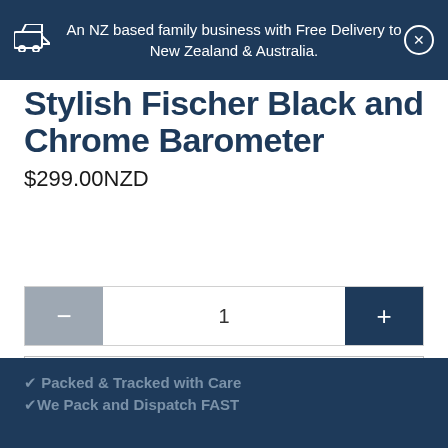An NZ based family business with Free Delivery to New Zealand & Australia.
Stylish Fischer Black and Chrome Barometer
$299.00NZD
1
Add to cart
✔ Packed & Tracked with Care
✔ We Pack and Dispatch FAST